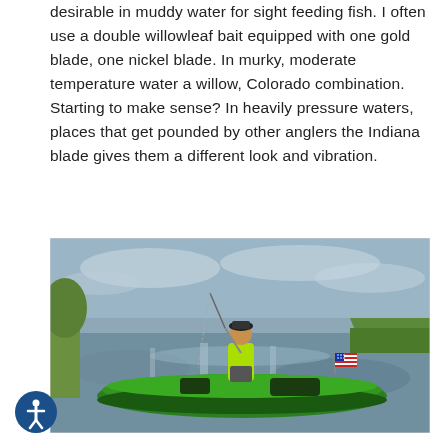desirable in muddy water for sight feeding fish. I often use a double willowleaf bait equipped with one gold blade, one nickel blade. In murky, moderate temperature water a willow, Colorado combination. Starting to make sense? In heavily pressure waters, places that get pounded by other anglers the Indiana blade gives them a different look and vibration.
[Figure (photo): A person wearing a bright green jacket and dark shorts standing on a green kayak on calm water, holding a fishing rod. An American flag is mounted on the back of the kayak. The background shows a green grassy bank and still water reflecting clouds and trees.]